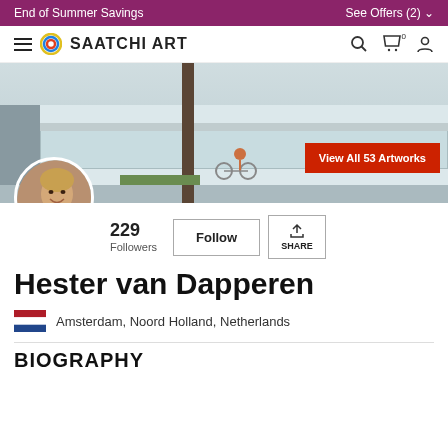End of Summer Savings   See Offers (2)
[Figure (logo): Saatchi Art website navigation bar with hamburger menu, circular logo, brand name SAATCHI ART, search, cart, and account icons]
[Figure (photo): Cover photo showing a city street scene with a building with glass windows, a tree trunk, a cyclist, and a red button reading View All 53 Artworks. Profile avatar photo of artist Hester van Dapperen.]
229
Followers
Follow
SHARE
Hester van Dapperen
Amsterdam, Noord Holland, Netherlands
BIOGRAPHY